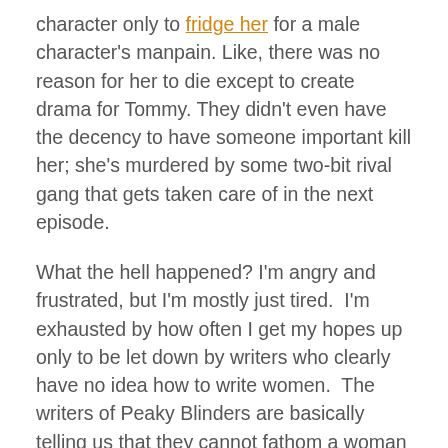character only to fridge her for a male character's manpain. Like, there was no reason for her to die except to create drama for Tommy. They didn't even have the decency to have someone important kill her; she's murdered by some two-bit rival gang that gets taken care of in the next episode.
What the hell happened? I'm angry and frustrated, but I'm mostly just tired.  I'm exhausted by how often I get my hopes up only to be let down by writers who clearly have no idea how to write women.  The writers of Peaky Blinders are basically telling us that they cannot fathom a woman whose life doesn't revolve around either a man or her children and they have no interest in learning, seeing as there aren't any female writers on the team.  I'm tired.  This is boring and amateur and I'm